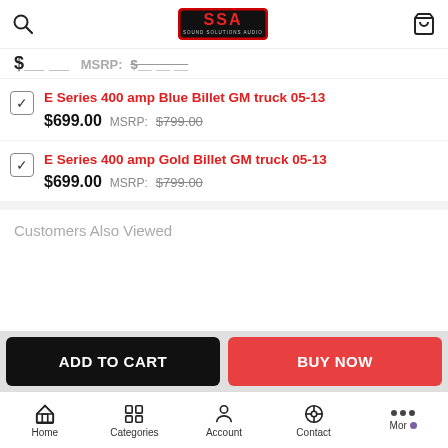Sound Solutions Audio (SSA) - header with search and cart icons
$__ __ MSRP: $__ __ (partially visible price row)
E Series 400 amp Blue Billet GM truck 05-13 — $699.00  MSRP: $799.00
E Series 400 amp Gold Billet GM truck 05-13 — $699.00  MSRP: $799.00
Customers Also Viewed
ADD TO CART
BUY NOW
Home   Categories   Account   Contact   More